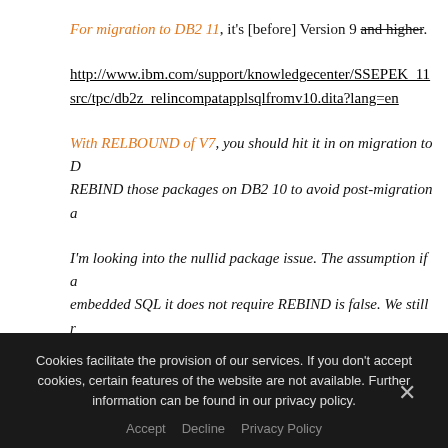For migration to DB2 11, it's [before] Version 9 and higher.
http://www.ibm.com/support/knowledgecenter/SSEPEK_11 src/tpc/db2z_relincompatapplsqlfromv10.dita?lang=en
With RELBOUND of V7, you should hit it in on migration to D... REBIND those packages on DB2 10 to avoid post-migration a...
I'm looking into the nullid package issue. The assumption if a... embedded SQL it does not require REBIND is false. We still r... they also are autobound on migration – even if the PLAN do... There are still structures in there that need updating.
Cookies facilitate the provision of our services. If you don't accept cookies, certain features of the website are not available. Further information can be found in our privacy policy.
Accept   Decline   Privacy Policy